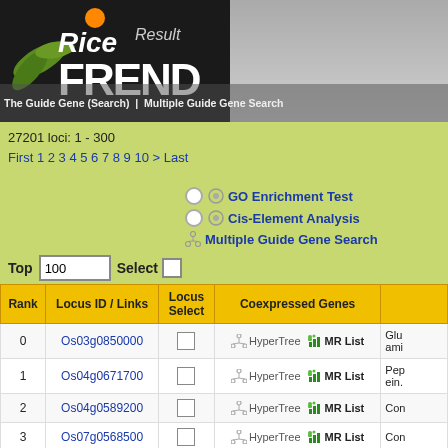Rice FREND | Result | Multiple Guide Gene Search
27201 loci: 1 - 300
First 1 2 3 4 5 6 7 8 9 10 > Last
GO Enrichment Test | Cis-Element Analysis | Multiple Guide Gene Search
Top 100 Select
| Rank | Locus ID / Links | Locus Select | Coexpressed Genes |  |
| --- | --- | --- | --- | --- |
| 0 | Os03g0850000 |  | HyperTree  MR List | Glu ami |
| 1 | Os04g0671700 |  | HyperTree  MR List | Pep ein. |
| 2 | Os04g0589200 |  | HyperTree  MR List | Con |
| 3 | Os07g0568500 |  | HyperTree  MR List | Con |
|  |  |  |  | Nor |